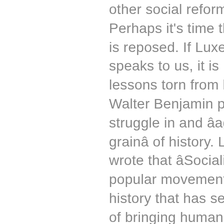other social reform movements? Perhaps it's time that the matter is reposed. If Luxemburg still speaks to us, it is not in abstract lessons torn from history, but, as Walter Benjamin put it, by her struggle in and âagainst the grainâ of history. Luxemburg wrote that âSocialism is the first popular movement in world history that has set itself the goal of bringing human consciousness, and thereby free will, into play in the social actions of mankind.â How might we yet learn from Luxemburg's example? Why must we